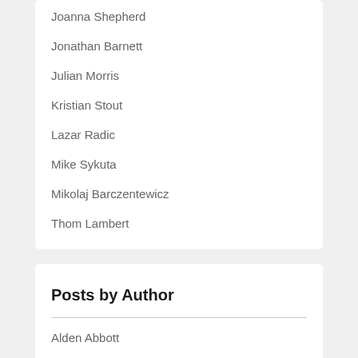Joanna Shepherd
Jonathan Barnett
Julian Morris
Kristian Stout
Lazar Radic
Mike Sykuta
Mikolaj Barczentewicz
Thom Lambert
Posts by Author
Alden Abbott
Ben Sperry
Ben Sperry & Kristian Stout
Brian Albrecht